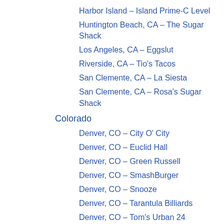Harbor Island – Island Prime-C Level
Huntington Beach, CA – The Sugar Shack
Los Angeles, CA – Eggslut
Riverside, CA – Tio's Tacos
San Clemente, CA – La Siesta
San Clemente, CA – Rosa's Sugar Shack
Colorado
Denver, CO – City O' City
Denver, CO – Euclid Hall
Denver, CO – Green Russell
Denver, CO – SmashBurger
Denver, CO – Snooze
Denver, CO – Tarantula Billiards
Denver, CO – Tom's Urban 24
Florida
Ft. Lauderdale, FL – Rocco's Tacos
Ft. Lauderdale, FL – Rok Brgr